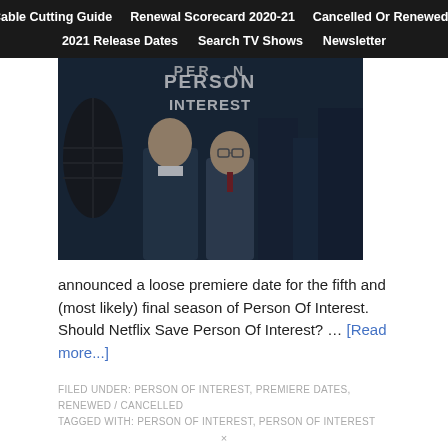Cable Cutting Guide | Renewal Scorecard 2020-21 | Cancelled Or Renewed? | 2021 Release Dates | Search TV Shows | Newsletter
[Figure (photo): Person of Interest TV show promotional image showing two male characters in front of a city backdrop with the text 'PERSON OF INTEREST' visible]
announced a loose premiere date for the fifth and (most likely) final season of Person Of Interest. Should Netflix Save Person Of Interest? … [Read more...]
FILED UNDER: PERSON OF INTEREST, PREMIERE DATES, RENEWED / CANCELLED
TAGGED WITH: PERSON OF INTEREST, PERSON OF INTEREST